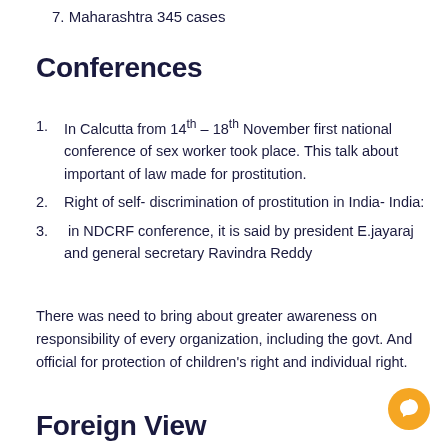7. Maharashtra 345 cases
Conferences
1. In Calcutta from 14th – 18th November first national conference of sex worker took place. This talk about important of law made for prostitution.
2. Right of self- discrimination of prostitution in India- India:
3.  in NDCRF conference, it is said by president E.jayaraj and general secretary Ravindra Reddy
There was need to bring about greater awareness on responsibility of every organization, including the govt. And official for protection of children's right and individual right.
Foreign View